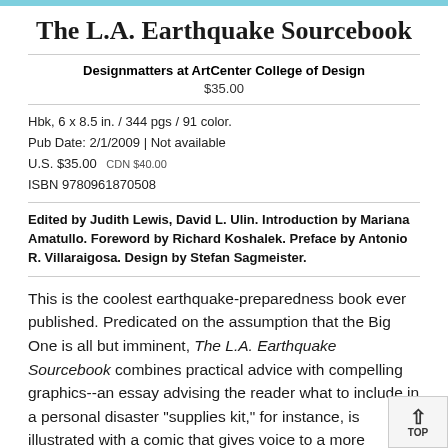The L.A. Earthquake Sourcebook
Designmatters at ArtCenter College of Design
$35.00
Hbk, 6 x 8.5 in. / 344 pgs / 91 color.
Pub Date: 2/1/2009 | Not available
U.S. $35.00  CDN $40.00
ISBN 9780961870508
Edited by Judith Lewis, David L. Ulin. Introduction by Mariana Amatullo. Foreword by Richard Koshalek. Preface by Antonio R. Villaraigosa. Design by Stefan Sagmeister.
This is the coolest earthquake-preparedness book ever published. Predicated on the assumption that the Big One is all but imminent, The L.A. Earthquake Sourcebook combines practical advice with compelling graphics--an essay advising the reader what to include in a personal disaster "supplies kit," for instance, is illustrated with a comic that gives voice to a more jaundiced view of disaster preparedness, in which a character